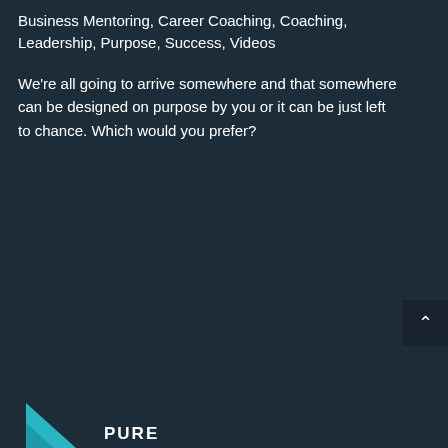Business Mentoring, Career Coaching, Coaching, Leadership, Purpose, Success, Videos
We're all going to arrive somewhere and that somewhere can be designed on purpose by you or it can be just left to chance. Which would you prefer?
[Figure (logo): Partial teal/cyan triangular logo shape with bold capitalized text 'PURE' partially visible at bottom of page]